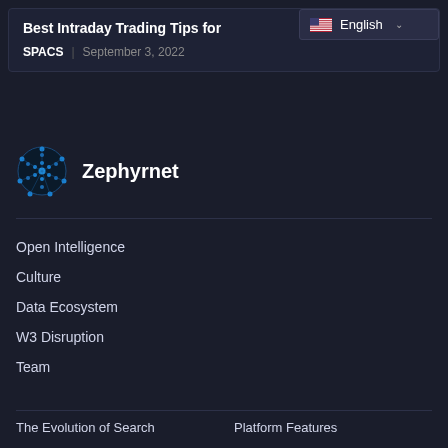Best Intraday Trading Tips for
English
SPACS | September 3, 2022
[Figure (logo): Zephyrnet logo: blue circular network/globe icon]
Zephyrnet
Open Intelligence
Culture
Data Ecosystem
W3 Disruption
Team
The Evolution of Search
Platform Features